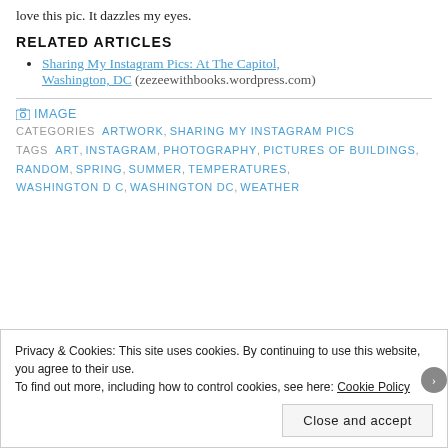love this pic. It dazzles my eyes.
RELATED ARTICLES
Sharing My Instagram Pics: At The Capitol, Washington, DC (zezeewithbooks.wordpress.com)
IMAGE
CATEGORIES  ARTWORK,  SHARING MY INSTAGRAM PICS
TAGS  ART,  INSTAGRAM,  PHOTOGRAPHY,  PICTURES OF BUILDINGS,  RANDOM,  SPRING,  SUMMER,  TEMPERATURES,  WASHINGTON D C,  WASHINGTON DC,  WEATHER
Privacy & Cookies: This site uses cookies. By continuing to use this website, you agree to their use.
To find out more, including how to control cookies, see here: Cookie Policy
Close and accept